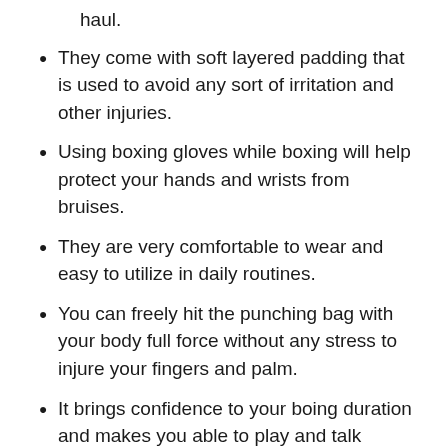material that allows you to repeat them for a long haul.
They come with soft layered padding that is used to avoid any sort of irritation and other injuries.
Using boxing gloves while boxing will help protect your hands and wrists from bruises.
They are very comfortable to wear and easy to utilize in daily routines.
You can freely hit the punching bag with your body full force without any stress to injure your fingers and palm.
It brings confidence to your boing duration and makes you able to play and talk confidently in front of a large audience.
Maxmyer's product truly allows you to relieve your entire anxiety while hitting the punching bag with